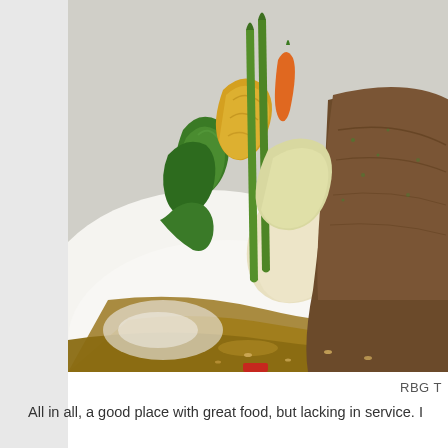[Figure (photo): Close-up photo of a restaurant dish showing a meat patty (meatloaf or hamburger steak) with brown gravy sauce, served alongside steamed vegetables including green zucchini, yellow squash, asparagus, and carrots on a white plate.]
RBG T
All in all, a good place with great food, but lacking in service. I...